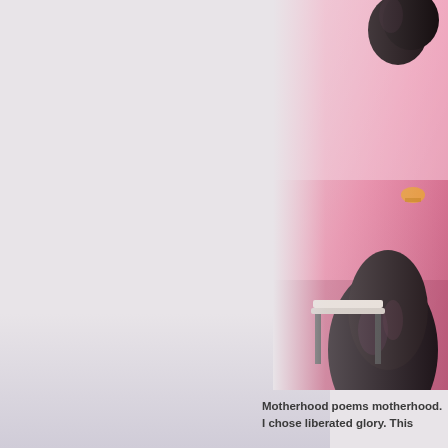[Figure (photo): Partial photo of a person with dark hair sitting in a chair in a room with pink/magenta lighting. The background is pink-toned. The left portion of the page is a light grayish-lavender background.]
Motherhood poems motherhood. I chose liberated glory. This